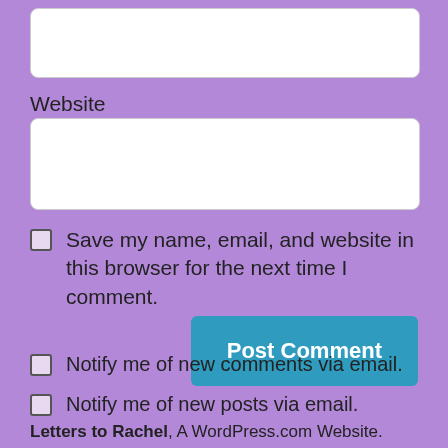[Figure (screenshot): Empty white rounded input box at top of page]
Website
[Figure (screenshot): Empty white rounded input box for Website field]
Save my name, email, and website in this browser for the next time I comment.
[Figure (screenshot): Post Comment button in teal/blue color]
Notify me of new comments via email.
Notify me of new posts via email.
Letters to Rachel, A WordPress.com Website.